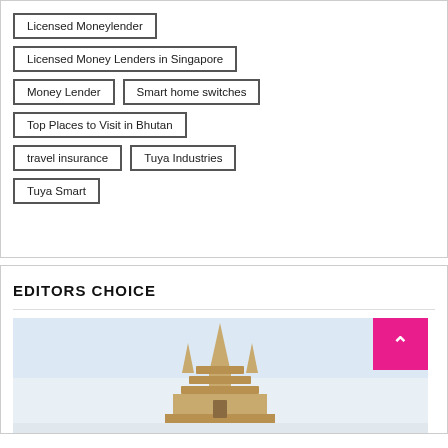Licensed Moneylender
Licensed Money Lenders in Singapore
Money Lender
Smart home switches
Top Places to Visit in Bhutan
travel insurance
Tuya Industries
Tuya Smart
EDITORS CHOICE
[Figure (photo): Photo of a Thai or Buddhist temple building with spires against a light sky]